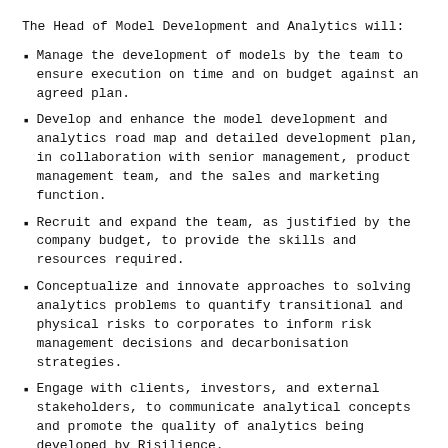The Head of Model Development and Analytics will:
Manage the development of models by the team to ensure execution on time and on budget against an agreed plan.
Develop and enhance the model development and analytics road map and detailed development plan, in collaboration with senior management, product management team, and the sales and marketing function.
Recruit and expand the team, as justified by the company budget, to provide the skills and resources required.
Conceptualize and innovate approaches to solving analytics problems to quantify transitional and physical risks to corporates to inform risk management decisions and decarbonisation strategies.
Engage with clients, investors, and external stakeholders, to communicate analytical concepts and promote the quality of analytics being developed by Risilience.
Identification of partners, collaborators, and consultants to enhance our development activities.
We expect the successful person will have senior expertise in one or more of the following areas: